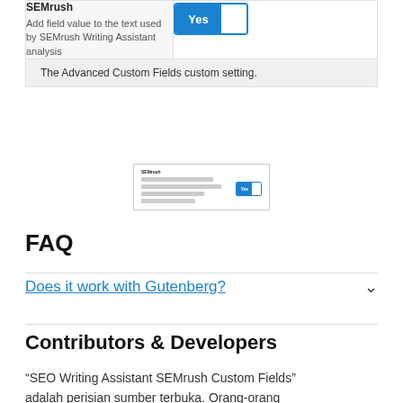| SEMrush |  |
| --- | --- |
| SEMrush
Add field value to the text used by SEMrush Writing Assistant analysis | Yes [toggle] |
The Advanced Custom Fields custom setting.
[Figure (screenshot): Thumbnail screenshot of the SEMrush custom field toggle setting]
FAQ
Does it work with Gutenberg?
Contributors & Developers
“SEO Writing Assistant SEMrush Custom Fields” adalah perisian sumber terbuka. Orang-orang